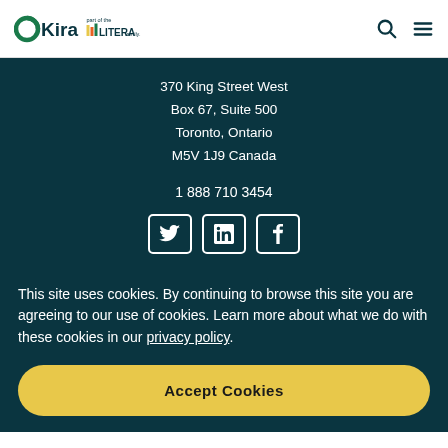[Figure (logo): OKira logo with circular O graphic and 'Kira' text, plus 'part of the LITERA family.' tagline]
370 King Street West
Box 67, Suite 500
Toronto, Ontario
M5V 1J9 Canada
1 888 710 3454
[Figure (illustration): Three social media icons: Twitter, LinkedIn, Facebook - white on dark teal background]
This site uses cookies. By continuing to browse this site you are agreeing to our use of cookies. Learn more about what we do with these cookies in our privacy policy.
Accept Cookies